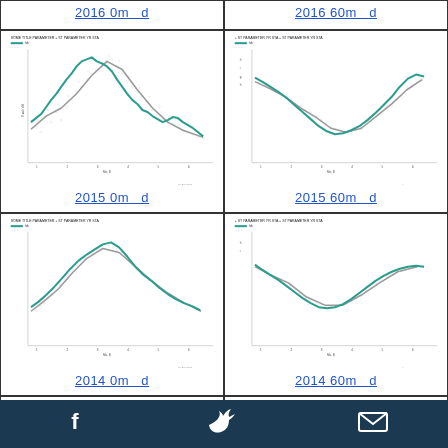2016 0m   d
2016 60m   d
[Figure (continuous-plot): 2015 0m depth oceanographic time-series scatter plot with teal trend line and grey scatter points, showing seasonal variation]
2015 0m   d
[Figure (continuous-plot): 2015 60m depth oceanographic time-series scatter plot with teal trend line and grey scatter points, showing declining then rising pattern]
2015 60m   d
[Figure (continuous-plot): 2014 0m depth oceanographic time-series scatter plot with teal trend line and grey scatter points, showing seasonal variation]
2014 0m   d
[Figure (continuous-plot): 2014 60m depth oceanographic time-series scatter plot with teal trend line and grey scatter points]
2014 60m   d
[Figure (continuous-plot): Partial view of 2013 0m depth oceanographic time-series scatter plot (cut off at bottom)]
[Figure (continuous-plot): Partial view of 2013 60m depth oceanographic time-series scatter plot (cut off at bottom)]
f   [Twitter bird icon]   [envelope icon]